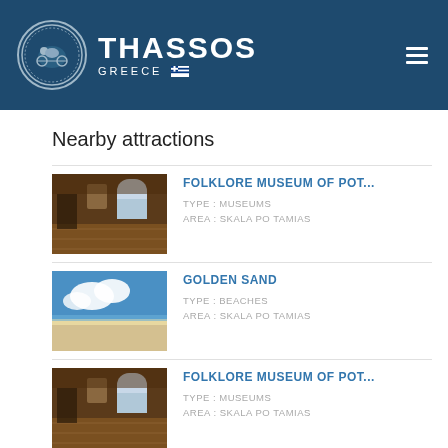THASSOS GREECE
Nearby attractions
[Figure (photo): Interior of Folklore Museum of Potamia with wooden floors and arched windows]
FOLKLORE MUSEUM OF POT...
TYPE : MUSEUMS
AREA : SKALA PO TAMIAS
[Figure (photo): Golden Sand beach with blue sky and white sand]
GOLDEN SAND
TYPE : BEACHES
AREA : SKALA PO TAMIAS
[Figure (photo): Interior of Folklore Museum of Potamia with wooden floors and arched windows]
FOLKLORE MUSEUM OF POT...
TYPE : MUSEUMS
AREA : SKALA PO TAMIAS